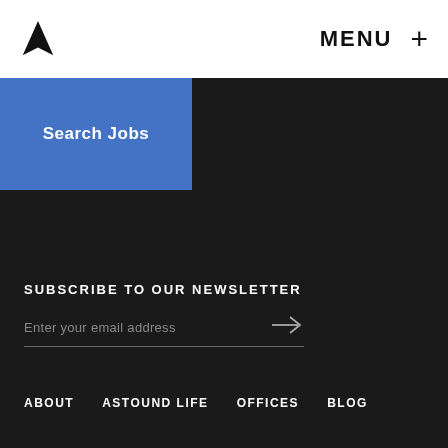MENU +
Search Jobs
SUBSCRIBE TO OUR NEWSLETTER
Enter your email address
ABOUT   ASTOUND LIFE   OFFICES   BLOG